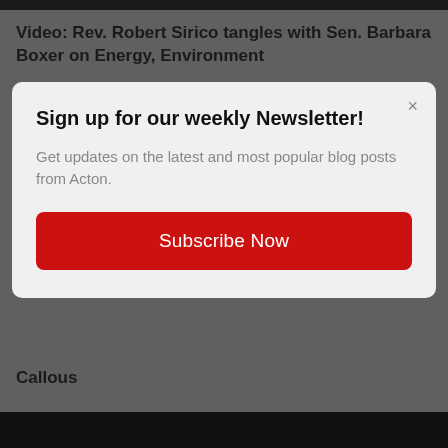Video: Rev. Robert Sirico tangles with Sen. Barbara Boxer on Energy, Environment
Sign up for our weekly Newsletter!
Get updates on the latest and most popular blog posts from Acton.
Subscribe Now
Callous